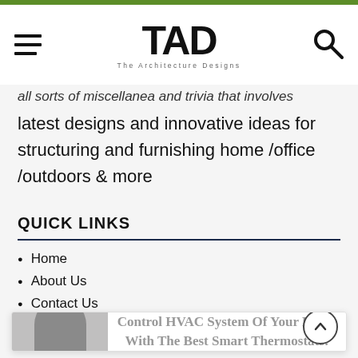TAD - The Architecture Designs
all sorts of miscellanea and trivia that involves latest designs and innovative ideas for structuring and furnishing home /office /outdoors & more
QUICK LINKS
Home
About Us
Contact Us
Write For Us
FAQ's
Privacy Policy
Terms & Conditions
[Figure (other): Popup overlay showing a person silhouette image and text: Control HVAC System Of Your Home With The Best Smart Thermostats!]